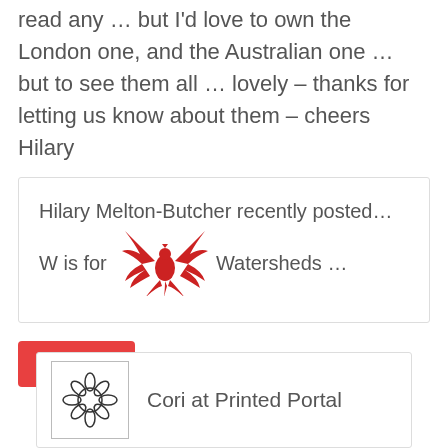read any … but I'd love to own the London one, and the Australian one … but to see them all … lovely – thanks for letting us know about them – cheers Hilary
Hilary Melton-Butcher recently posted…W is for Watersheds …
REPLY
Cori at Printed Portal